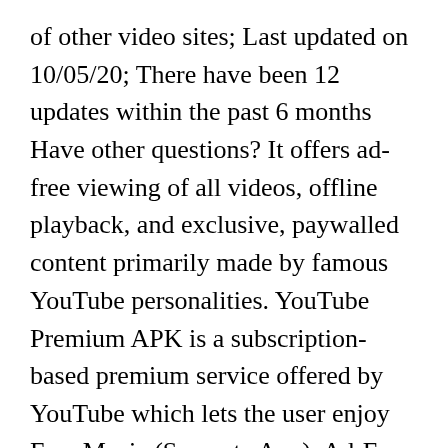of other video sites; Last updated on 10/05/20; There have been 12 updates within the past 6 months Have other questions? It offers ad-free viewing of all videos, offline playback, and exclusive, paywalled content primarily made by famous YouTube personalities. YouTube Premium APK is a subscription-based premium service offered by YouTube which lets the user enjoy Free Music (Separate App), Ad-Free Video Experience, Background Video Play, Pop-Up Video Box, and YouTube Originals. YouTube TV has once again raised its prices.. As of June 30, the live TV streaming service will now charge $64.99 per month.This comes after a previous price increase in April. On your phone or tablet, open the YouTube app. The